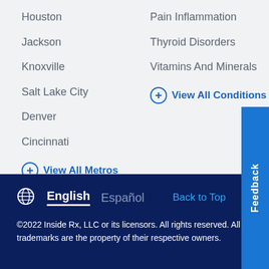Houston
Jackson
Knoxville
Salt Lake City
Denver
Cincinnati
View All Metros
Pain Inflammation
Thyroid Disorders
Vitamins And Minerals
View All Conditions
English | Español | Back to Top | ©2022 Inside Rx, LLC or its licensors. All rights reserved. All trademarks are the property of their respective owners. | Feedback